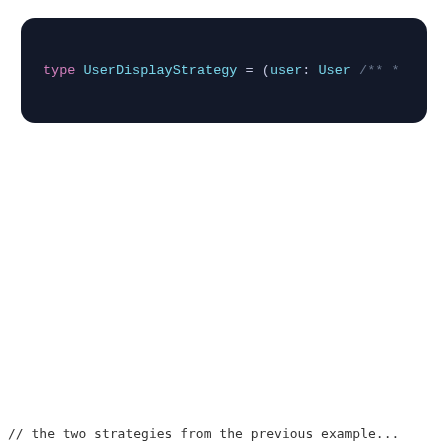[Figure (screenshot): Code editor screenshot showing TypeScript code with a UserDisplayStrategy type definition, a userNameOnlyStrategy const, and a userNameAndEmailStrategy const with JSDoc comments. Dark navy background with syntax highlighting.]
// the two strategies from the previous example...